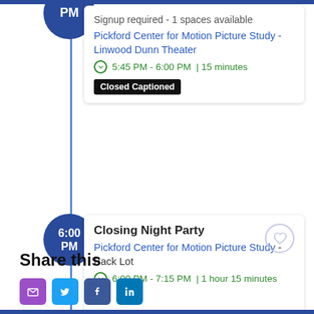PM
Signup required - 1 spaces available
Pickford Center for Motion Picture Study - Linwood Dunn Theater
5:45 PM - 6:00 PM | 15 minutes
Closed Captioned
6:00 PM
Closing Night Party
Pickford Center for Motion Picture Study - Back Lot
6:00 PM - 7:15 PM | 1 hour 15 minutes
Share this
Social icons: email, twitter, facebook, linkedin